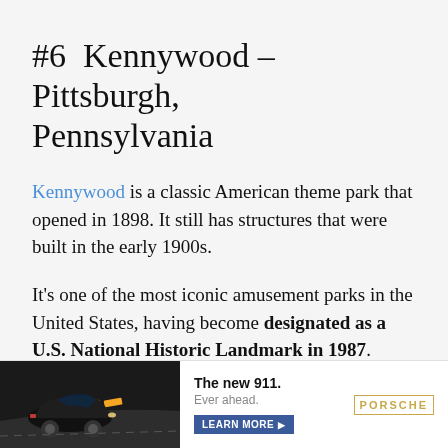#6  Kennywood – Pittsburgh, Pennsylvania
Kennywood is a classic American theme park that opened in 1898. It still has structures that were built in the early 1900s.
It's one of the most iconic amusement parks in the United States, having become designated as a U.S. National Historic Landmark in 1987.
Three of the 6 roller coasters at Kennywood were
[Figure (other): Porsche 911 advertisement banner at the bottom of the page showing a black Porsche 911 car on a racetrack, with the text 'The new 911. Ever ahead. LEARN MORE' and the Porsche logo.]